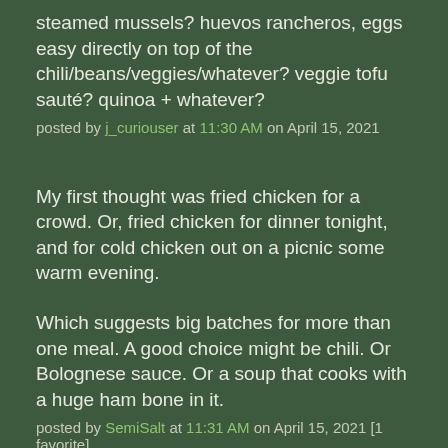steamed mussels? huevos rancheros, eggs easy directly on top of the chili/beans/veggies/whatever? veggie tofu sauté? quinoa + whatever?
posted by j_curiouser at 11:30 AM on April 15, 2021
My first thought was fried chicken for a crowd. Or, fried chicken for dinner tonight, and for cold chicken out on a picnic some warm evening.
Which suggests big batches for more than one meal. A good choice might be chili. Or Bolognese sauce. Or a soup that cooks with a huge ham bone in it.
posted by SemiSalt at 11:31 AM on April 15, 2021 [1 favorite]
I've had that one for years and love it. I use it for paella, braising things, egg scrambles, etc.